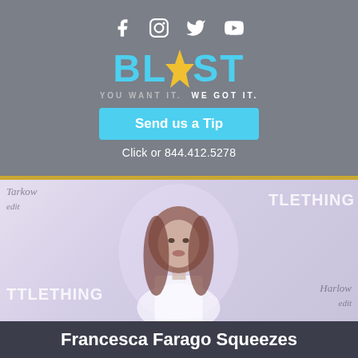[Figure (logo): Social media icons: Facebook, Instagram, Twitter, YouTube in white on gray background]
[Figure (logo): BLAST logo in cyan/blue with yellow star, tagline: YOU WANT IT. WE GOT IT.]
Send us a Tip
Click or 844.412.5278
[Figure (photo): Photo of Francesca Farago at a PrettyLittleThing event, standing in front of a branded backdrop. Woman with long brown hair wearing white top.]
Francesca Farago Squeezes